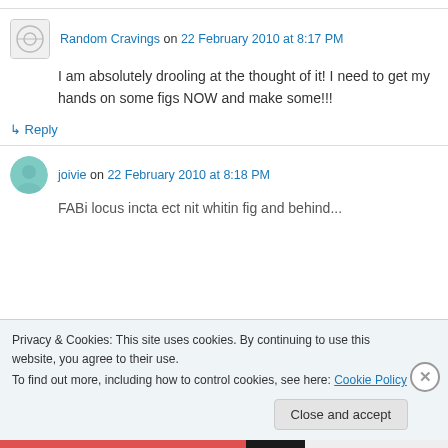Random Cravings on 22 February 2010 at 8:17 PM
I am absolutely drooling at the thought of it! I need to get my hands on some figs NOW and make some!!!
↳ Reply
joivie on 22 February 2010 at 8:18 PM
Privacy & Cookies: This site uses cookies. By continuing to use this website, you agree to their use. To find out more, including how to control cookies, see here: Cookie Policy
Close and accept